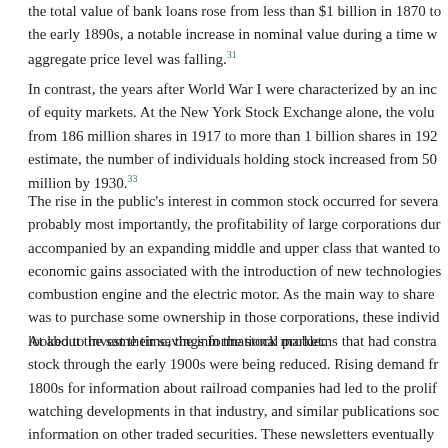the total value of bank loans rose from less than $1 billion in 1870 to the early 1890s, a notable increase in nominal value during a time w aggregate price level was falling.[31]
In contrast, the years after World War I were characterized by an inc of equity markets. At the New York Stock Exchange alone, the volu from 186 million shares in 1917 to more than 1 billion shares in 192 estimate, the number of individuals holding stock increased from 50 million by 1930.[33]
The rise in the public's interest in common stock occurred for severa probably most importantly, the profitability of large corporations dur accompanied by an expanding middle and upper class that wanted to economic gains associated with the introduction of new technologies combustion engine and the electric motor. As the main way to share was to purchase some ownership in those corporations, these individ looked to invest their savings in the stock market.
At about the same time, the informational problems that had constra stock through the early 1900s were being reduced. Rising demand fr 1800s for information about railroad companies had led to the prolif watching developments in that industry, and similar publications soc information on other traded securities. These newsletters eventually agencies covering a wide range of individual corporations, with Moo launched them in 1899. Although they were initially focused on bond